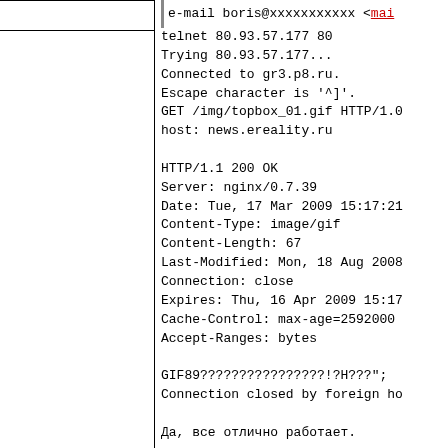e-mail boris@xxxxxxxxxxx <mai...
telnet 80.93.57.177 80
Trying 80.93.57.177...
Connected to gr3.p8.ru.
Escape character is '^]'.
GET /img/topbox_01.gif HTTP/1.0
host: news.ereality.ru

HTTP/1.1 200 OK
Server: nginx/0.7.39
Date: Tue, 17 Mar 2009 15:17:21
Content-Type: image/gif
Content-Length: 67
Last-Modified: Mon, 18 Aug 2008
Connection: close
Expires: Thu, 16 Apr 2009 15:17
Cache-Control: max-age=2592000
Accept-Ranges: bytes

GIF89????????????????!?H???";
Connection closed by foreign ho

Да, все отлично работает.

/usr/local/sbin/nginx739 -V
nginx version: nginx/0.7.39
built by gcc 4.2.1 20070719  [F
configure arguments: --prefix=...